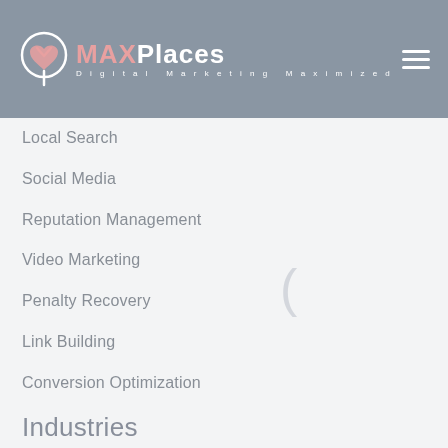[Figure (logo): MAXPlaces Digital Marketing Maximized logo with heart/pin icon in salmon/white on grey header background]
Local Search
Social Media
Reputation Management
Video Marketing
Penalty Recovery
Link Building
Conversion Optimization
Industries
Law Firm SEO
Accountants SEO
Dentist SEO
Plastic Surgeon SEO